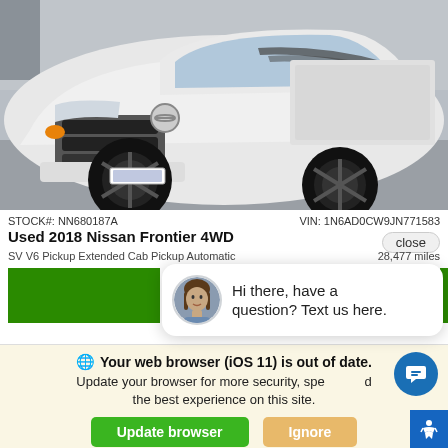[Figure (photo): White Nissan Frontier 4WD pickup truck photographed from front-left angle in a parking lot, showing black wheels and side graphic stripe]
STOCK#: NN680187A    VIN: 1N6AD0CW9JN771583
Used 2018 Nissan Frontier 4WD
SV V6 Pickup Extended Cab Pickup Automatic    28,477 miles
[Figure (screenshot): Chat widget showing female avatar and text: Hi there, have a question? Text us here.]
Your web browser (iOS 11) is out of date.
Update your browser for more security, speed and the best experience on this site.
Update browser   Ignore